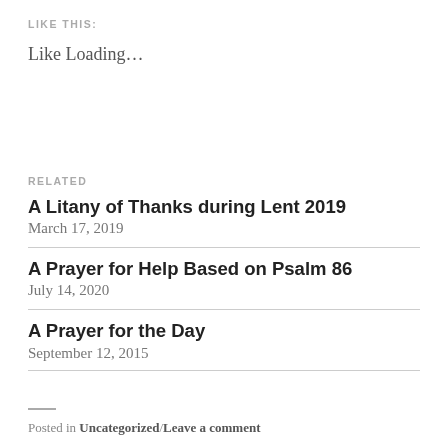LIKE THIS:
Like Loading…
RELATED
A Litany of Thanks during Lent 2019
March 17, 2019
A Prayer for Help Based on Psalm 86
July 14, 2020
A Prayer for the Day
September 12, 2015
Posted in Uncategorized/Leave a comment